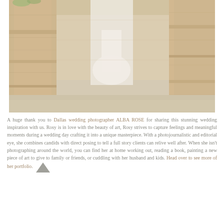[Figure (photo): A bride in a white flowing gown standing between large stone columns or pillars at an outdoor venue with gravel ground and stone walls in the background. The image has a soft, airy, light-toned aesthetic.]
A huge thank you to Dallas wedding photographer ALBA ROSE for sharing this stunning wedding inspiration with us. Rosy is in love with the beauty of art, Rosy strives to capture feelings and meaningful moments during a wedding day crafting it into a unique masterpiece. With a photojournalistic and editorial eye, she combines candids with direct posing to tell a full story clients can relive well after. When she isn't photographing around the world, you can find her at home working out, reading a book, painting a new piece of art to give to family or friends, or cuddling with her husband and kids. Head over to see more of her portfolio.